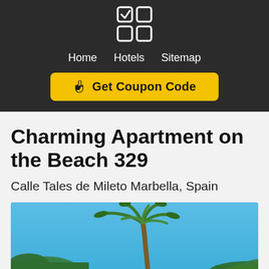[Figure (logo): Four-square logo icon with checkmark in top-left square]
Home   Hotels   Sitemap
☛ Get Coupon Code
Charming Apartment on the Beach 329
Calle Tales de Mileto Marbella, Spain
[Figure (photo): Outdoor photo showing blue sky, palm tree, and tropical foliage at a beach apartment property in Marbella, Spain]